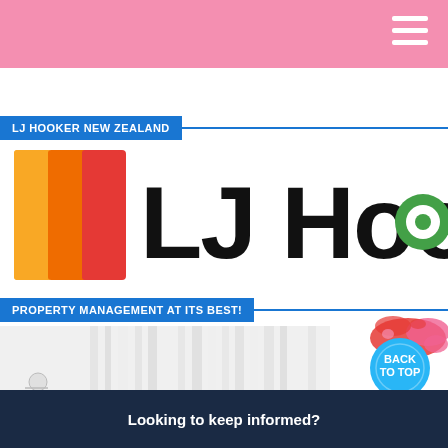LJ HOOKER NEW ZEALAND
[Figure (logo): LJ Hooker logo with colorful striped square icon and green circle on the letter r]
PROPERTY MANAGEMENT AT ITS BEST!
[Figure (photo): Interior room with curtains, partially visible]
[Figure (infographic): Back to Top button — cyan circle with red/pink ink splash behind it]
Looking to keep informed?